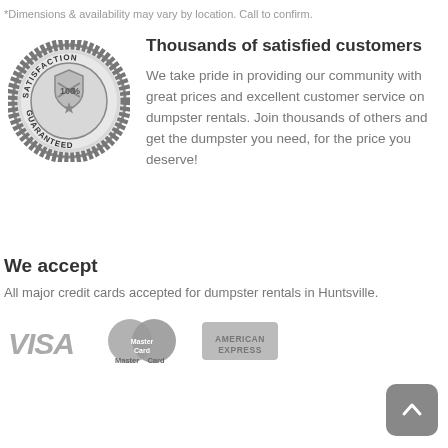*Dimensions & availability may vary by location. Call to confirm.
[Figure (illustration): Circular satisfaction guaranteed badge/seal in grayscale with text 'SATISFACTION GUARANTEED' around the edge and '100%' in the center with crossed arrows and a star]
Thousands of satisfied customers
We take pride in providing our community with great prices and excellent customer service on dumpster rentals. Join thousands of others and get the dumpster you need, for the price you deserve!
We accept
All major credit cards accepted for dumpster rentals in Huntsville.
[Figure (logo): VISA logo in gray]
[Figure (logo): MasterCard logo in gray with overlapping circles]
[Figure (logo): American Express logo in gray rectangular badge]